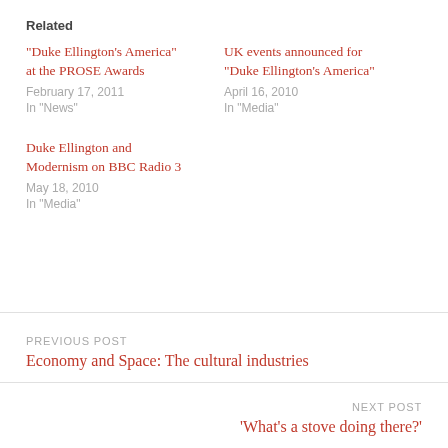Related
“Duke Ellington’s America” at the PROSE Awards
February 17, 2011
In “News”
UK events announced for “Duke Ellington’s America”
April 16, 2010
In “Media”
Duke Ellington and Modernism on BBC Radio 3
May 18, 2010
In “Media”
PREVIOUS POST
Economy and Space: The cultural industries
NEXT POST
‘What’s a stove doing there?’